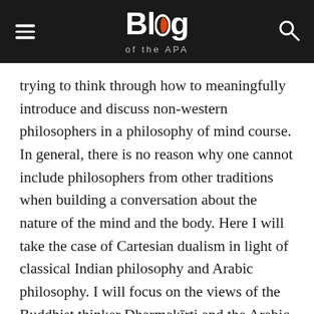Blog of the APA
trying to think through how to meaningfully introduce and discuss non-western philosophers in a philosophy of mind course. In general, there is no reason why one cannot include philosophers from other traditions when building a conversation about the nature of the mind and the body. Here I will take the case of Cartesian dualism in light of classical Indian philosophy and Arabic philosophy. I will focus on the views of the Buddhist thinker Dharmakīrti and the Arabic philosopher Ibn Sina. My basic goal is to show how dualism can be engaged cross-culturally, and show that it can be done at the introductory level. There is no reason to leave discussion of non-western ideas about the mind to